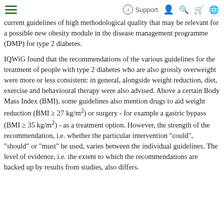Support
current guidelines of high methodological quality that may be relevant for a possible new obesity module in the disease management programme (DMP) for type 2 diabetes.
IQWiG found that the recommendations of the various guidelines for the treatment of people with type 2 diabetes who are also grossly overweight were more or less consistent: in general, alongside weight reduction, diet, exercise and behavioural therapy were also advised. Above a certain Body Mass Index (BMI), some guidelines also mention drugs to aid weight reduction (BMI ≥ 27 kg/m²) or surgery - for example a gastric bypass (BMI ≥ 35 kg/m²) - as a treatment option. However, the strength of the recommendation, i.e. whether the particular intervention "could", "should" or "must" be used, varies between the individual guidelines. The level of evidence, i.e. the extent to which the recommendations are backed up by results from studies, also differs.